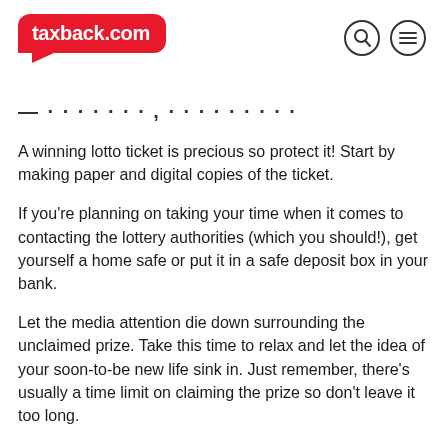taxback.com
— · · · · · · · , · · · · · · · · · · -
A winning lotto ticket is precious so protect it! Start by making paper and digital copies of the ticket.
If you're planning on taking your time when it comes to contacting the lottery authorities (which you should!), get yourself a home safe or put it in a safe deposit box in your bank.
Let the media attention die down surrounding the unclaimed prize. Take this time to relax and let the idea of your soon-to-be new life sink in. Just remember, there's usually a time limit on claiming the prize so don't leave it too long.